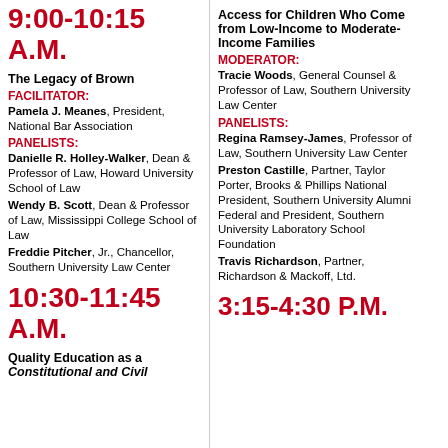9:00-10:15 A.M.
The Legacy of Brown
FACILITATOR:
Pamela J. Meanes, President, National Bar Association
PANELISTS:
Danielle R. Holley-Walker, Dean & Professor of Law, Howard University School of Law
Wendy B. Scott, Dean & Professor of Law, Mississippi College School of Law
Freddie Pitcher, Jr., Chancellor, Southern University Law Center
10:30-11:45 A.M.
Quality Education as a Constitutional and Civil
Access for Children Who Come from Low-Income to Moderate-Income Families
MODERATOR:
Tracie Woods, General Counsel & Professor of Law, Southern University Law Center
PANELISTS:
Regina Ramsey-James, Professor of Law, Southern University Law Center
Preston Castille, Partner, Taylor Porter, Brooks & Phillips National President, Southern University Alumni Federal and President, Southern University Laboratory School Foundation
Travis Richardson, Partner, Richardson & Mackoff, Ltd.
3:15-4:30 P.M.